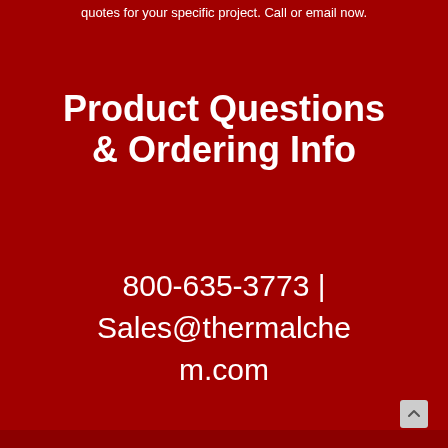quotes for your specific project.  Call or email now.
Product Questions & Ordering Info
800-635-3773 | Sales@thermalchem.com